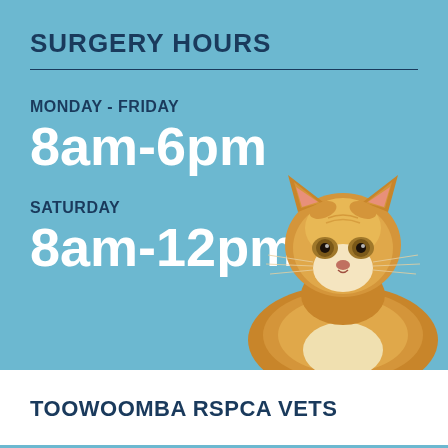SURGERY HOURS
MONDAY - FRIDAY
8am-6pm
SATURDAY
8am-12pm
[Figure (photo): Orange long-haired cat looking upward against a light blue background]
TOOWOOMBA RSPCA VETS